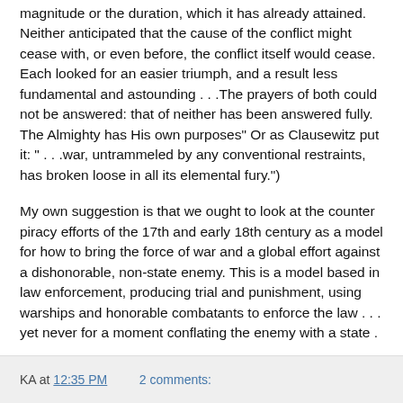magnitude or the duration, which it has already attained. Neither anticipated that the cause of the conflict might cease with, or even before, the conflict itself would cease. Each looked for an easier triumph, and a result less fundamental and astounding . . .The prayers of both could not be answered: that of neither has been answered fully. The Almighty has His own purposes" Or as Clausewitz put it: " . . .war, untrammeled by any conventional restraints, has broken loose in all its elemental fury.")
My own suggestion is that we ought to look at the counter piracy efforts of the 17th and early 18th century as a model for how to bring the force of war and a global effort against a dishonorable, non-state enemy. This is a model based in law enforcement, producing trial and punishment, using warships and honorable combatants to enforce the law . . . yet never for a moment conflating the enemy with a state . . . .
KA at 12:35 PM    2 comments: